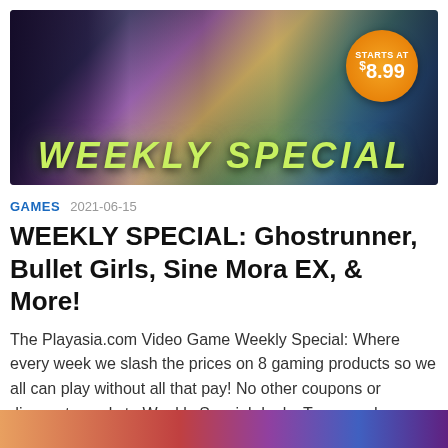[Figure (photo): Weekly Special promotional banner image showing video game characters including a dark-armored character, an anime girl, a female character in urban wear, colorful cartoon characters, and a fantasy warrior. Large text reads 'WEEKLY SPECIAL' in yellow-green italic font. An orange circular badge in top-right reads 'STARTS AT $8.99'.]
GAMES  2021-06-15
WEEKLY SPECIAL: Ghostrunner, Bullet Girls, Sine Mora EX, & More!
The Playasia.com Video Game Weekly Special: Where every week we slash the prices on 8 gaming products so we all can play without all that pay! No other coupons or discounts apply to Weekly Special deals. Terms and Conditions...
[Figure (photo): Partial view of game product images at the bottom of the page, cropped.]